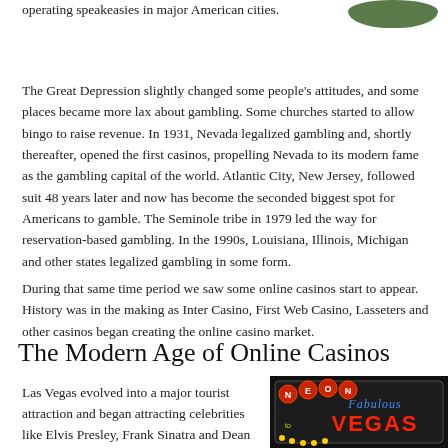operating speakeasies in major American cities.
[Figure (photo): Green rounded object partially visible in top right corner]
The Great Depression slightly changed some people's attitudes, and some places became more lax about gambling. Some churches started to allow bingo to raise revenue. In 1931, Nevada legalized gambling and, shortly thereafter, opened the first casinos, propelling Nevada to its modern fame as the gambling capital of the world. Atlantic City, New Jersey, followed suit 48 years later and now has become the seconded biggest spot for Americans to gamble. The Seminole tribe in 1979 led the way for reservation-based gambling. In the 1990s, Louisiana, Illinois, Michigan and other states legalized gambling in some form.
During that same time period we saw some online casinos start to appear. History was in the making as Inter Casino, First Web Casino, Lasseters and other casinos began creating the online casino market.
The Modern Age of Online Casinos
Las Vegas evolved into a major tourist attraction and began attracting celebrities like Elvis Presley, Frank Sinatra and Dean
[Figure (photo): Welcome to Fabulous Las Vegas Nevada sign illuminated at night with colorful lights]